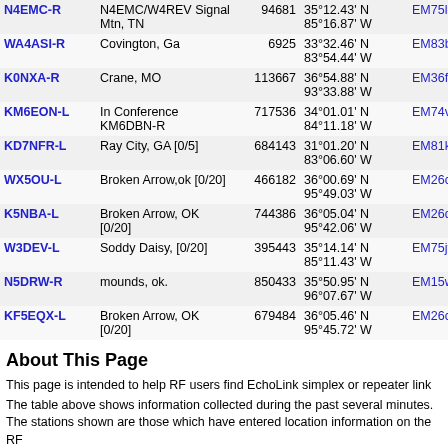| Callsign | Location | Node | Coordinates | Grid | Freq |
| --- | --- | --- | --- | --- | --- |
| N4EMC-R | N4EMC/W4REV Signal Mtn, TN | 94681 | 35°12.43' N 85°16.87' W | EM75le | 469.9 |
| WA4ASI-R | Covington, Ga | 6925 | 33°32.46' N 83°54.44' W | EM83bm | 470.2 |
| K0NXA-R | Crane, MO | 113667 | 36°54.88' N 93°33.88' W | EM36fv | 470.9 |
| KM6EON-L | In Conference KM6DBN-R | 717536 | 34°01.01' N 84°11.18' W | EM74va | 471.2 |
| KD7NFR-L | Ray City, GA [0/5] | 684143 | 31°01.20' N 83°06.60' W | EM81ka | 473.2 |
| WX5OU-L | Broken Arrow,ok [0/20] | 466182 | 36°00.69' N 95°49.03' W | EM26ca | 474.2 |
| K5NBA-L | Broken Arrow, OK [0/20] | 744386 | 36°05.04' N 95°42.06' W | EM26dc | 474.4 |
| W3DEV-L | Soddy Daisy, [0/20] | 395443 | 35°14.14' N 85°11.43' W | EM75jf | 475.0 |
| N5DRW-R | mounds, ok. | 850433 | 35°50.95' N 96°07.67' W | EM15wu | 476.2 |
| KF5EQX-L | Broken Arrow, OK [0/20] | 679484 | 36°05.46' N 95°45.72' W | EM26cc | 476.8 |
About This Page
This page is intended to help RF users find EchoLink simplex or repeater link
The table above shows information collected during the past several minutes. The stations shown are those which have entered location information on the RF
Simplex links (-L) show the location, frequency, and antenna information of th